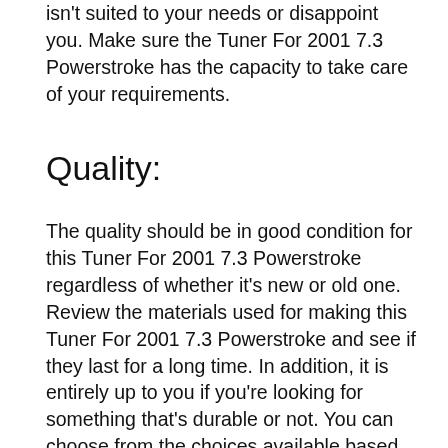isn't suited to your needs or disappoint you. Make sure the Tuner For 2001 7.3 Powerstroke has the capacity to take care of your requirements.
Quality:
The quality should be in good condition for this Tuner For 2001 7.3 Powerstroke regardless of whether it's new or old one. Review the materials used for making this Tuner For 2001 7.3 Powerstroke and see if they last for a long time. In addition, it is entirely up to you if you're looking for something that's durable or not. You can choose from the choices available based on your preferences.